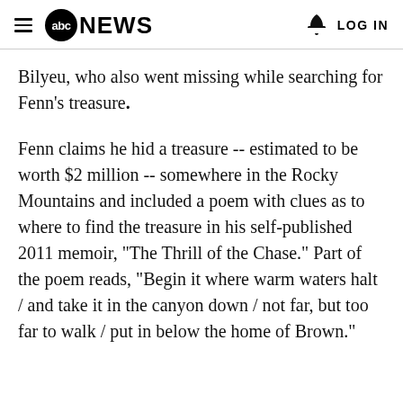abc NEWS  LOG IN
Bilyeu, who also went missing while searching for Fenn's treasure.
Fenn claims he hid a treasure -- estimated to be worth $2 million -- somewhere in the Rocky Mountains and included a poem with clues as to where to find the treasure in his self-published 2011 memoir, "The Thrill of the Chase." Part of the poem reads, "Begin it where warm waters halt / and take it in the canyon down / not far, but too far to walk / put in below the home of Brown."